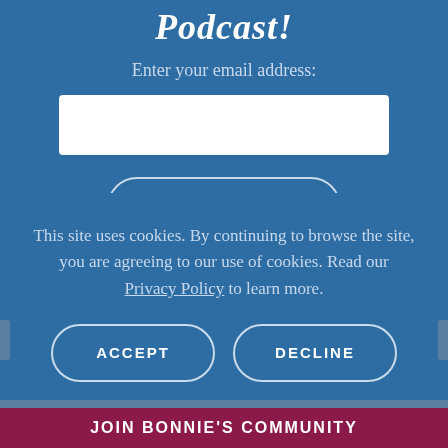Podcast!
Enter your email address:
SUBSCRIBE
This site uses cookies. By continuing to browse the site, you are agreeing to our use of cookies. Read our Privacy Policy to learn more.
ACCEPT
DECLINE
JOIN BONNIE'S COMMUNITY